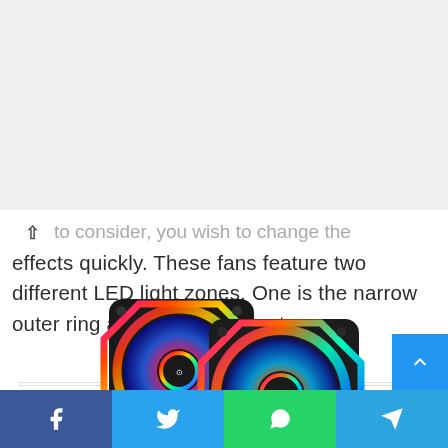…to consider if you wish to change the effects quickly. These fans feature two different LED light zones. One is the narrow outer ring and one in the center.
[Figure (photo): Two RGB PC case fans with colorful LED lighting — rainbow outer ring and center hub — shown side by side against a white background.]